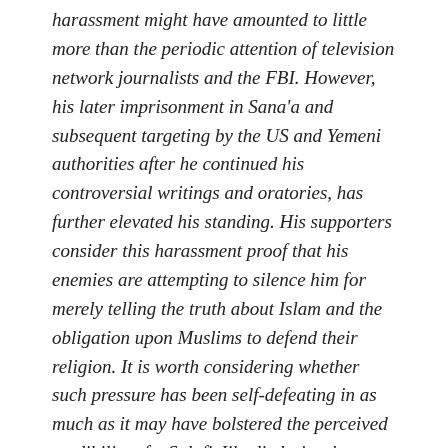harassment might have amounted to little more than the periodic attention of television network journalists and the FBI. However, his later imprisonment in Sana'a and subsequent targeting by the US and Yemeni authorities after he continued his controversial writings and oratories, has further elevated his standing. His supporters consider this harassment proof that his enemies are attempting to silence him for merely telling the truth about Islam and the obligation upon Muslims to defend their religion. It is worth considering whether such pressure has been self-defeating in as much as it may have bolstered the perceived credibility of a Salafi-Jihadi cleric who would otherwise have been no more prominent than many of his contemporaries.
When a government grants itself the power to execute its own citizens without any kind of judicial process and refuses to reveal the legal grounds upon which it claims it can